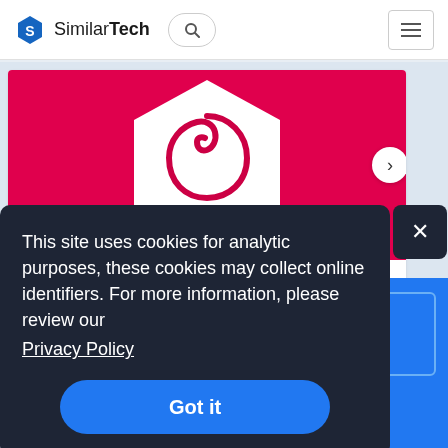SimilarTech
[Figure (logo): Debian logo on red/pink background - white hexagon with debian swirl logo]
Debian
Websites Using Debian
This site uses cookies for analytic purposes, these cookies may collect online identifiers. For more information, please review our Privacy Policy
Got it